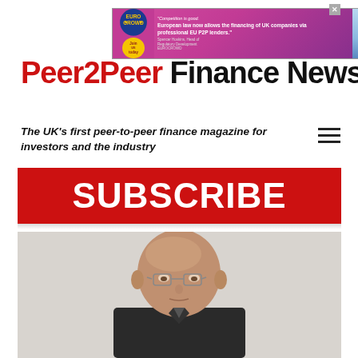[Figure (other): EuroCrowd advertisement banner with magenta/purple gradient background, logo on left, ad text in center, person in suit on right, close button top-right]
Peer2Peer Finance News
The UK's first peer-to-peer finance magazine for investors and the industry
[Figure (other): Red SUBSCRIBE banner button]
[Figure (photo): Partial photo of a bald man with glasses looking at the camera, cropped at the bottom of the page]